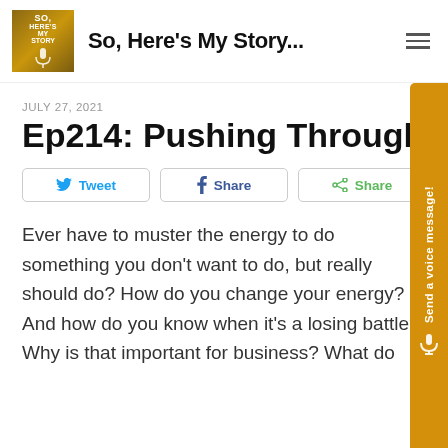So, Here's My Story...
JULY 27, 2021
Ep214: Pushing Through
Tweet  Share  Share
Ever have to muster the energy to do something you don't want to do, but really should do? How do you change your energy? And how do you know when it's a losing battle? Why is that important for business? What do